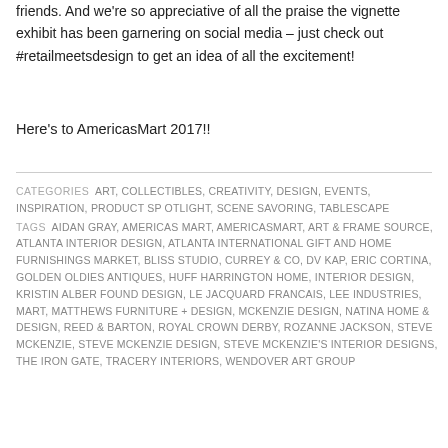friends. And we're so appreciative of all the praise the vignette exhibit has been garnering on social media – just check out #retailmeetsdesign to get an idea of all the excitement!
Here's to AmericasMart 2017!!
CATEGORIES  ART, COLLECTIBLES, CREATIVITY, DESIGN, EVENTS, INSPIRATION, PRODUCT SPOTLIGHT, SCENE SAVORING, TABLESCAPE
TAGS  AIDAN GRAY, AMERICAS MART, AMERICASMART, ART & FRAME SOURCE, ATLANTA INTERIOR DESIGN, ATLANTA INTERNATIONAL GIFT AND HOME FURNISHINGS MARKET, BLISS STUDIO, CURREY & CO, DV KAP, ERIC CORTINA, GOLDEN OLDIES ANTIQUES, HUFF HARRINGTON HOME, INTERIOR DESIGN, KRISTIN ALBER FOUND DESIGN, LE JACQUARD FRANCAIS, LEE INDUSTRIES, MART, MATTHEWS FURNITURE + DESIGN, MCKENZIE DESIGN, NATINA HOME & DESIGN, REED & BARTON, ROYAL CROWN DERBY, ROZANNE JACKSON, STEVE MCKENZIE, STEVE MCKENZIE DESIGN, STEVE MCKENZIE'S INTERIOR DESIGNS, THE IRON GATE, TRACERY INTERIORS, WENDOVER ART GROUP